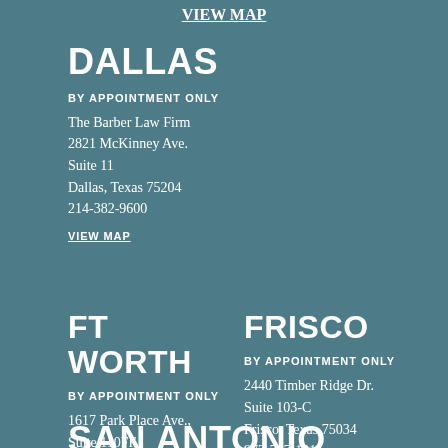VIEW MAP
DALLAS
BY APPOINTMENT ONLY
The Barber Law Firm
2821 McKinney Ave.
Suite 11
Dallas, Texas 75204
214-382-9600
VIEW MAP
FT WORTH
FRISCO
BY APPOINTMENT ONLY
BY APPOINTMENT ONLY
1617 Park Place Ave.,
Suite 110FF
Ft. Worth, Texas 76110
817-678-0020
2440 Timber Ridge Dr.
Suite 103-C
Frisco, Texas 75034
972-737-1015
VIEW MAP
VIEW MAP
SAN ANTONIO